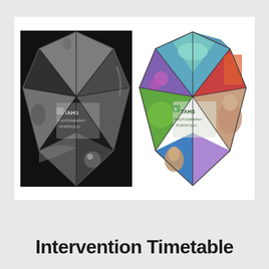[Figure (illustration): Two pentagonal star-shaped collage images side by side. Left one is black and white with TAHS Photography Portfolio logo. Right one is full color with TAHS Photography Portfolio logo.]
Intervention Timetable